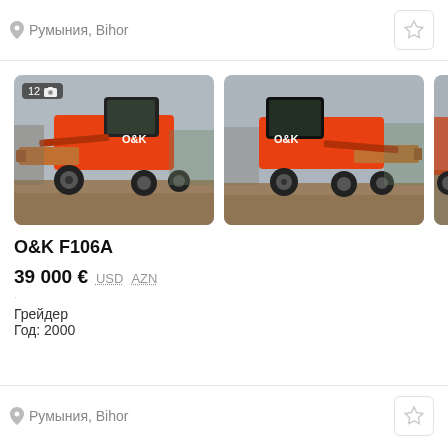Румыния, Bihor
[Figure (photo): Two photos of an orange O&K F106A motor grader parked on a wet lot. Left photo shows front-left view with badge '12' and camera icon. Right photo shows similar front-right angle. A partially visible third photo is cropped on the right.]
O&K F106A
39 000 € USD AZN
Грейдер
Год: 2000
Румыния, Bihor